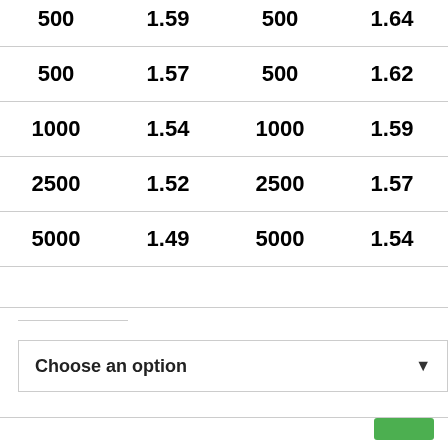| 500 | 1.59 | 500 | 1.64 |
| 500 | 1.57 | 500 | 1.62 |
| 1000 | 1.54 | 1000 | 1.59 |
| 2500 | 1.52 | 2500 | 1.57 |
| 5000 | 1.49 | 5000 | 1.54 |
Choose an option